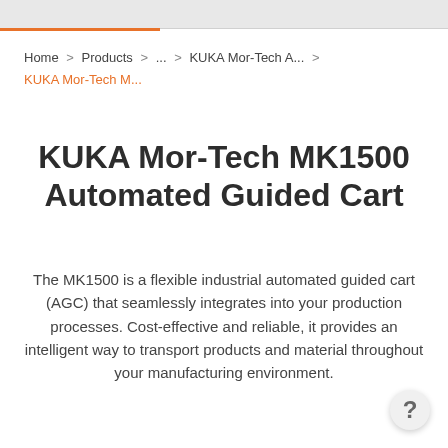Home > Products > ... > KUKA Mor-Tech A... > KUKA Mor-Tech M...
KUKA Mor-Tech MK1500 Automated Guided Cart
The MK1500 is a flexible industrial automated guided cart (AGC) that seamlessly integrates into your production processes. Cost-effective and reliable, it provides an intelligent way to transport products and material throughout your manufacturing environment.